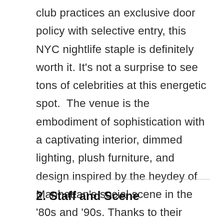club practices an exclusive door policy with selective entry, this NYC nightlife staple is definitely worth it. It's not a surprise to see tons of celebrities at this energetic spot.  The venue is the embodiment of sophistication with a captivating interior, dimmed lighting, plush furniture, and design inspired by the heydey of Manhattan's social scene in the '80s and '90s. Thanks to their rotation of world-renowned DJs, surprise performances, stellar standard of service, and deluxe amenities, you'll be partying like a rockstar all night long.
2. Staff and Scene